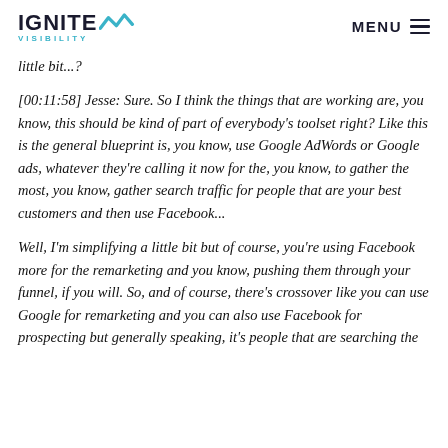IGNITE VISIBILITY | MENU
little bit...?
[00:11:58] Jesse: Sure. So I think the things that are working are, you know, this should be kind of part of everybody's toolset right? Like this is the general blueprint is, you know, use Google AdWords or Google ads, whatever they're calling it now for the, you know, to gather the most, you know, gather search traffic for people that are your best customers and then use Facebook...
Well, I'm simplifying a little bit but of course, you're using Facebook more for the remarketing and you know, pushing them through your funnel, if you will. So, and of course, there's crossover like you can use Google for remarketing and you can also use Facebook for prospecting but generally speaking, it's people that are searching the